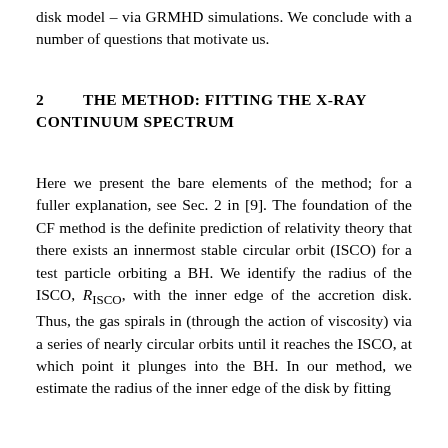disk model – via GRMHD simulations. We conclude with a number of questions that motivate us.
2         THE METHOD: FITTING THE X-RAY CONTINUUM SPECTRUM
Here we present the bare elements of the method; for a fuller explanation, see Sec. 2 in [9]. The foundation of the CF method is the definite prediction of relativity theory that there exists an innermost stable circular orbit (ISCO) for a test particle orbiting a BH. We identify the radius of the ISCO, R_ISCO, with the inner edge of the accretion disk. Thus, the gas spirals in (through the action of viscosity) via a series of nearly circular orbits until it reaches the ISCO, at which point it plunges into the BH. In our method, we estimate the radius of the inner edge of the disk by fitting